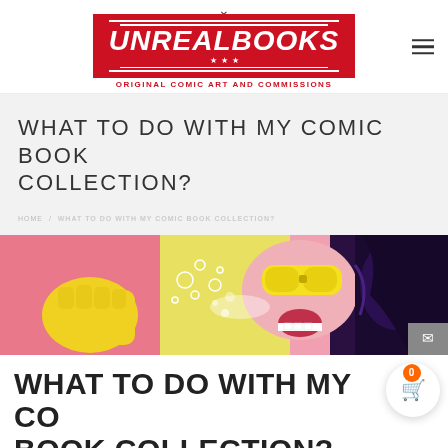UNREALBOOKS — ORIGINAL COMIC ART AND COMMISSIONS
WHAT TO DO WITH MY COMIC BOOK COLLECTION?
WHAT TO DO WITH MY COMIC BOOK COLLECTION?
[Figure (illustration): Comic book panel showing superhero action scene with colorful pop-art style characters fighting]
WHAT TO DO WITH MY COMIC BOOK COLLECTION?